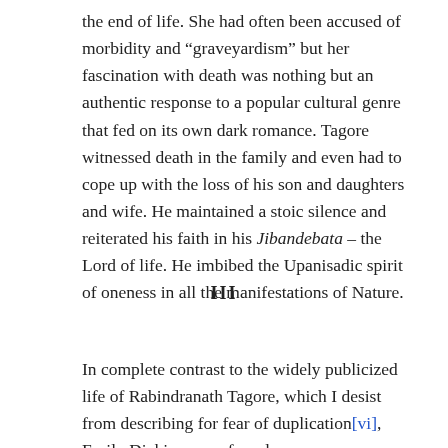the end of life. She had often been accused of morbidity and “graveyardism” but her fascination with death was nothing but an authentic response to a popular cultural genre that fed on its own dark romance. Tagore witnessed death in the family and even had to cope up with the loss of his son and daughters and wife. He maintained a stoic silence and reiterated his faith in his Jibandebata – the Lord of life. He imbibed the Upanisadic spirit of oneness in all the manifestations of Nature.
III
In complete contrast to the widely publicized life of Rabindranath Tagore, which I desist from describing for fear of duplication[vi], Emily Dickinson preferred a